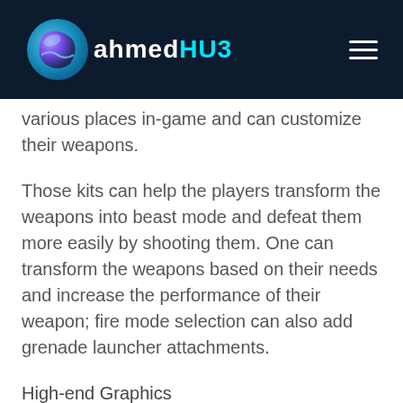AhmedHUB
various places in-game and can customize their weapons.
Those kits can help the players transform the weapons into beast mode and defeat them more easily by shooting them. One can transform the weapons based on their needs and increase the performance of their weapon; fire mode selection can also add grenade launcher attachments.
High-end Graphics
As shown in its trailer and I have said above, the PUBG New State graphics are truly unique.